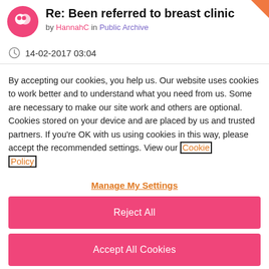Re: Been referred to breast clinic
by HannahC in Public Archive
14-02-2017 03:04
By accepting our cookies, you help us. Our website uses cookies to work better and to understand what you need from us. Some are necessary to make our site work and others are optional. Cookies stored on your device and are placed by us and trusted partners. If you're OK with us using cookies in this way, please accept the recommended settings. View our Cookie Policy
Manage My Settings
Reject All
Accept All Cookies